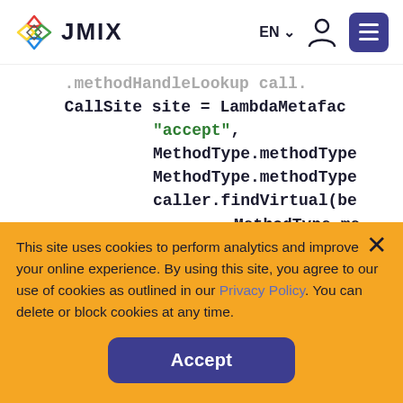JMIX | EN | navigation
[Figure (screenshot): Jmix website header with logo (diamond shape with colorful outlines), JMIX text, EN language selector with dropdown caret, user icon, and hamburger menu button]
methodHandleLookup call. CallSite site = LambdaMetafac "accept", MethodType.methodType MethodType.methodType caller.findVirtual(be MethodType.me MethodType.methodType
This site uses cookies to perform analytics and improve your online experience. By using this site, you agree to our use of cookies as outlined in our Privacy Policy. You can delete or block cookies at any time.
Accept